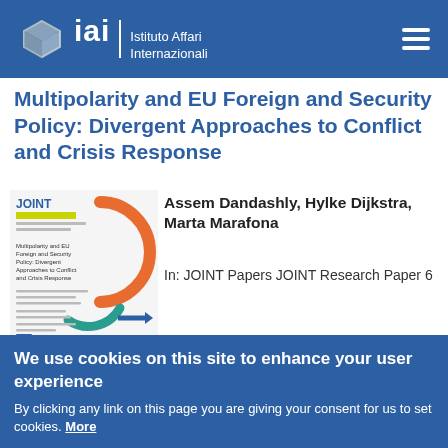IAI — Istituto Affari Internazionali
Multipolarity and EU Foreign and Security Policy: Divergent Approaches to Conflict and Crisis Response
[Figure (other): Thumbnail cover image of JOINT Research Paper 6 with orange arc and teal arrow graphic, alongside author names and publication reference]
Assem Dandashly, Hylke Dijkstra, Marta Marafona
In: JOINT Papers JOINT Research Paper 6
We use cookies on this site to enhance your user experience
By clicking any link on this page you are giving your consent for us to set cookies. More